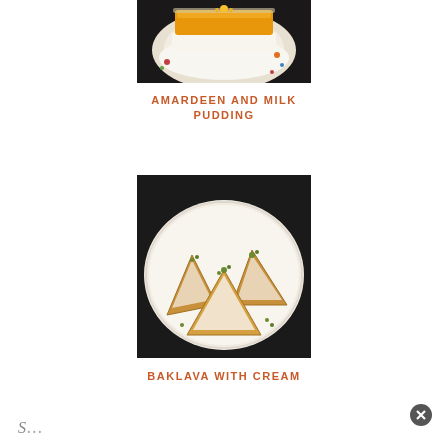[Figure (photo): A glass dessert with layered orange apricot jelly on top, white cream layer in middle, sitting on a white doily with colorful small decorations around it on a dark background]
AMARDEEN AND MILK PUDDING
[Figure (photo): Triangular golden-brown baklava pastries filled with white cream and topped with green pistachios, arranged on a white decorative plate on a dark background]
BAKLAVA WITH CREAM